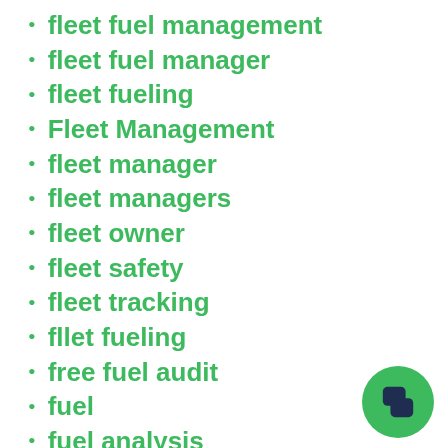fleet fuel management
fleet fuel manager
fleet fueling
Fleet Management
fleet manager
fleet managers
fleet owner
fleet safety
fleet tracking
fllet fueling
free fuel audit
fuel
fuel analysis
Fuel Audit
fuel card
fuel card analysis
fuel cards